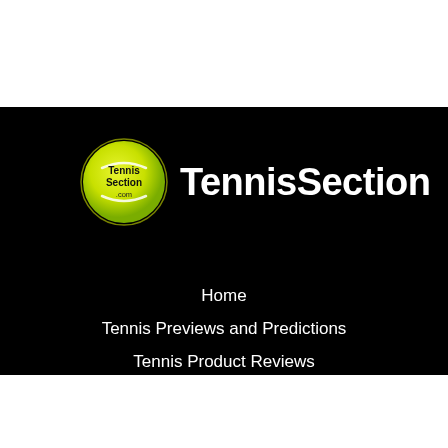[Figure (logo): TennisSection logo: a yellow-green tennis ball with 'Tennis Section .com' text, accompanied by the brand name 'TennisSection' in white bold text on black background]
Home
Tennis Previews and Predictions
Tennis Product Reviews